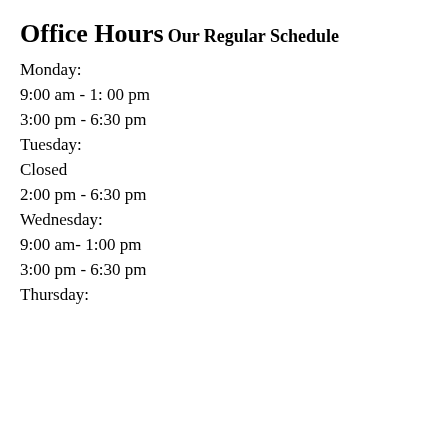Office Hours
Our Regular Schedule
Monday:
9:00 am - 1: 00 pm
3:00 pm - 6:30 pm
Tuesday:
Closed
2:00 pm - 6:30 pm
Wednesday:
9:00 am- 1:00 pm
3:00 pm - 6:30 pm
Thursday: